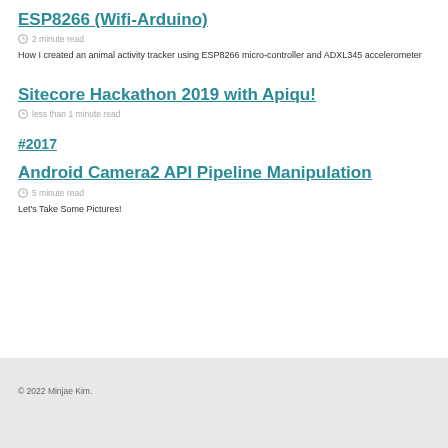ESP8266 (Wifi-Arduino)
2 minute read
How I created an animal activity tracker using ESP8266 micro-controller and ADXL345 accelerometer
Sitecore Hackathon 2019 with Apiqu!
less than 1 minute read
#2017
Android Camera2 API Pipeline Manipulation
5 minute read
Let's Take Some Pictures!
© 2022 Minjae Kim.